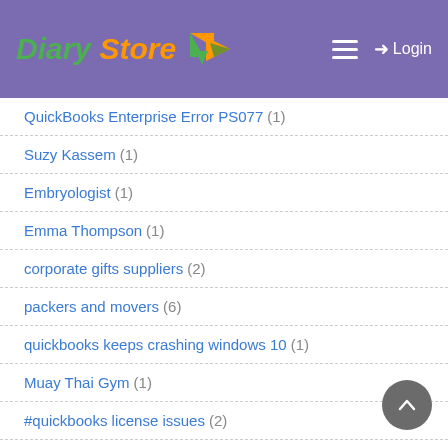Diary Store - Login
QuickBooks Enterprise Error PS077 (1)
Suzy Kassem (1)
Embryologist (1)
Emma Thompson (1)
corporate gifts suppliers (2)
packers and movers (6)
quickbooks keeps crashing windows 10 (1)
Muay Thai Gym (1)
#quickbooks license issues (2)
Quickbooks Desktop Enterprise Payroll Support Number (2)
QuickBooks Connection has been (1)
luxury gift (2)